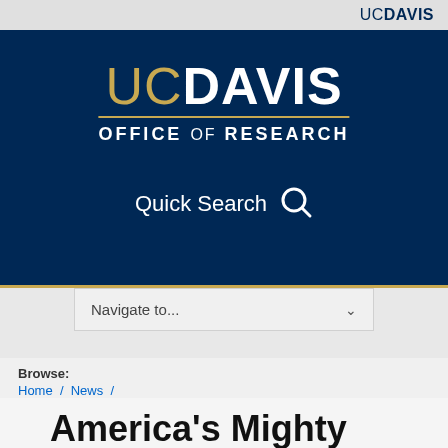UC DAVIS
[Figure (logo): UC Davis Office of Research logo — gold 'UC' with bold white 'DAVIS' and 'OFFICE OF RESEARCH' text on dark navy blue background]
Quick Search
Navigate to...
Browse:
Home / News /
America's Mighty Dream: Pianist/Activist Lara Downes and the Transformative Power of Music
America's Mighty Dream: